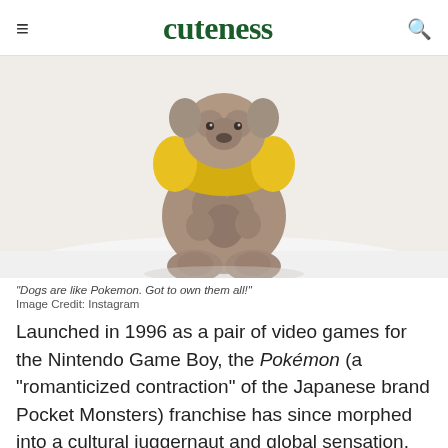cuteness
[Figure (photo): A small fluffy brown puppy wearing a yellow outfit, photographed from above on a white fluffy surface]
"Dogs are like Pokemon. Got to own them all!"
Image Credit: Instagram
Launched in 1996 as a pair of video games for the Nintendo Game Boy, the Pokémon (a "romanticized contraction" of the Japanese brand Pocket Monsters) franchise has since morphed into a cultural juggernaut and global sensation.